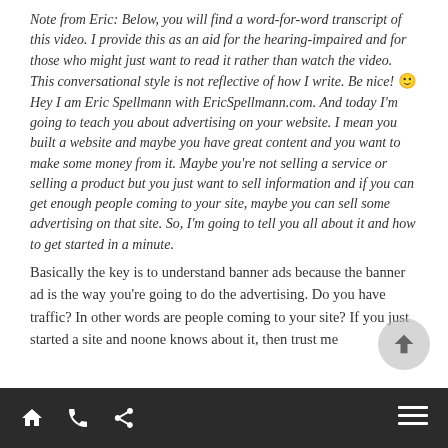Note from Eric: Below, you will find a word-for-word transcript of this video. I provide this as an aid for the hearing-impaired and for those who might just want to read it rather than watch the video. This conversational style is not reflective of how I write. Be nice! 🙂 Hey I am Eric Spellmann with EricSpellmann.com. And today I'm going to teach you about advertising on your website. I mean you built a website and maybe you have great content and you want to make some money from it. Maybe you're not selling a service or selling a product but you just want to sell information and if you can get enough people coming to your site, maybe you can sell some advertising on that site. So, I'm going to tell you all about it and how to get started in a minute.
Basically the key is to understand banner ads because the banner ad is the way you're going to do the advertising. Do you have traffic? In other words are people coming to your site? If you just started a site and noone knows about it, then trust me
Home | Phone | Share | Menu